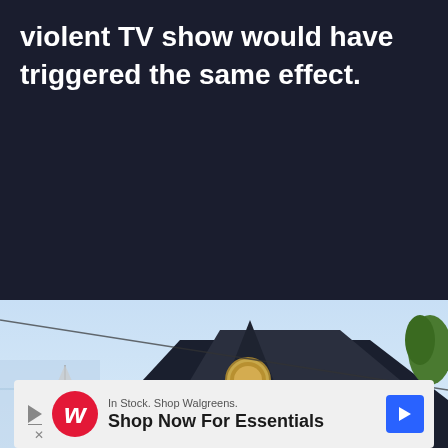violent TV show would have triggered the same effect.
[Figure (photo): Partial view of a building rooftop with a circular emblem/seal on the gable, against a light blue sky. A tree is visible at the right edge and a wire or cable crosses diagonally.]
In Stock. Shop Walgreens.
Shop Now For Essentials